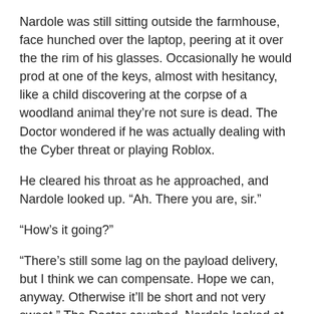Nardole was still sitting outside the farmhouse, face hunched over the laptop, peering at it over the the rim of his glasses. Occasionally he would prod at one of the keys, almost with hesitancy, like a child discovering at the corpse of a woodland animal they’re not sure is dead. The Doctor wondered if he was actually dealing with the Cyber threat or playing Roblox.
He cleared his throat as he approached, and Nardole looked up. “Ah. There you are, sir.”
“How’s it going?”
“There’s still some lag on the payload delivery, but I think we can compensate. Hope we can, anyway. Otherwise it’ll be short and not very sweet.” The Doctor coughed. Nardole looked at him quizzically: the Doctor interpreted it